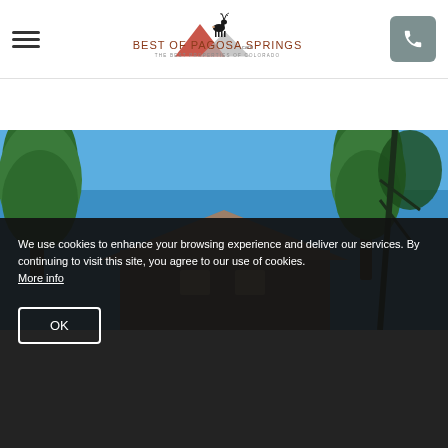Best of Pagosa Springs - The Best Properties of Colorado
[Figure (photo): Exterior photo of a log cabin/chalet style home with trees and blue sky visible, taken from a low angle looking up]
We use cookies to enhance your browsing experience and deliver our services. By continuing to visit this site, you agree to our use of cookies. More info
OK